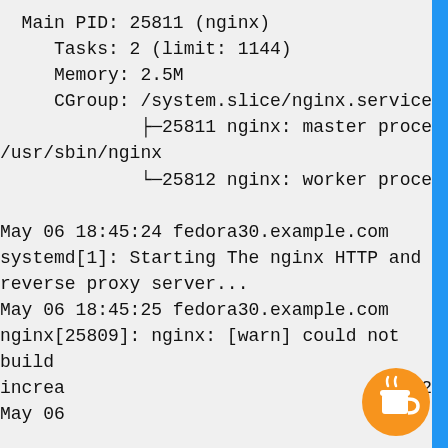Main PID: 25811 (nginx)
   Tasks: 2 (limit: 1144)
   Memory: 2.5M
   CGroup: /system.slice/nginx.service
           ├─25811 nginx: master process /usr/sbin/nginx
           └─25812 nginx: worker process

May 06 18:45:24 fedora30.example.com systemd[1]: Starting The nginx HTTP and reverse proxy server...
May 06 18:45:25 fedora30.example.com nginx[25809]: nginx: [warn] could not build  d increa  : 2 May 06  m
nginx[25809]: nginx: the configuration
Thank you for visiting. You can now buy me a coffee!